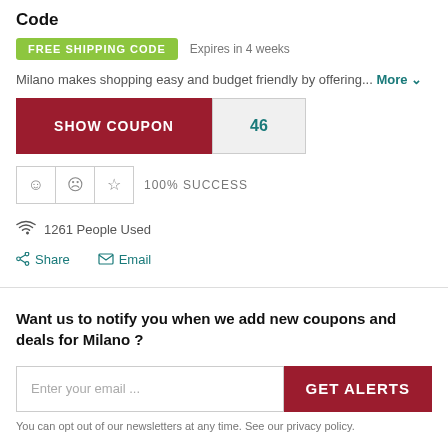Code
FREE SHIPPING CODE  Expires in 4 weeks
Milano makes shopping easy and budget friendly by offering... More
SHOW COUPON  46
100% SUCCESS
1261 People Used
Share    Email
Want us to notify you when we add new coupons and deals for Milano ?
Enter your email ...
GET ALERTS
You can opt out of our newsletters at any time. See our privacy policy.